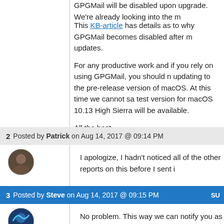GPGMail will be disabled upon upgrade. We're already looking into the m...
This KB-article has details as to why GPGMail becomes disabled after m... updates.
For any productive work and if you rely on using GPGMail, you should not be updating to the pre-release version of macOS. At this time we cannot say when a test version for macOS 10.13 High Sierra will be available.
All the best,
steve
2  Posted by Patrick on Aug 14, 2017 @ 09:14 PM
I apologize, I hadn't noticed all of the other reports on this before I sent i...
3  Posted by Steve on Aug 14, 2017 @ 09:15 PM
No problem. This way we can notify you as soon as a first beta is ready...
4  Posted by Steve on Sep 25, 2017 @ 09:06 PM